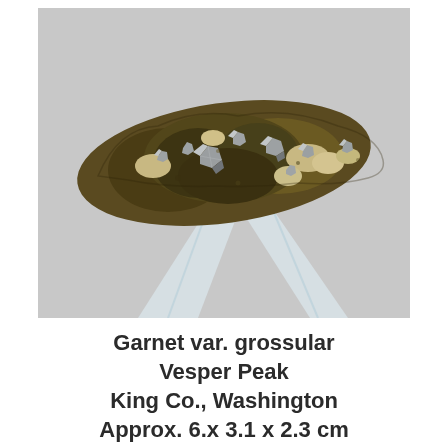[Figure (photo): Photograph of a mineral specimen — Garnet var. grossular — showing a rough, dark brownish-green rock cluster with silvery metallic faceted crystal faces (garnet crystals) and beige/cream matrix, displayed on a clear acrylic stand against a light grey background.]
Garnet var. grossular
Vesper Peak
King Co., Washington
Approx. 6.x 3.1 x 2.3 cm